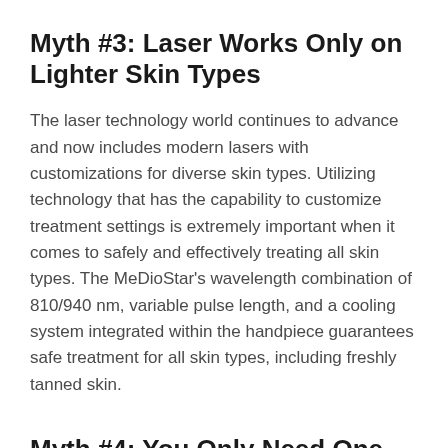Myth #3: Laser Works Only on Lighter Skin Types
The laser technology world continues to advance and now includes modern lasers with customizations for diverse skin types. Utilizing technology that has the capability to customize treatment settings is extremely important when it comes to safely and effectively treating all skin types. The MeDioStar’s wavelength combination of 810/940 nm, variable pulse length, and a cooling system integrated within the handpiece guarantees safe treatment for all skin types, including freshly tanned skin.
Myth #4: You Only Need One Treatment Session